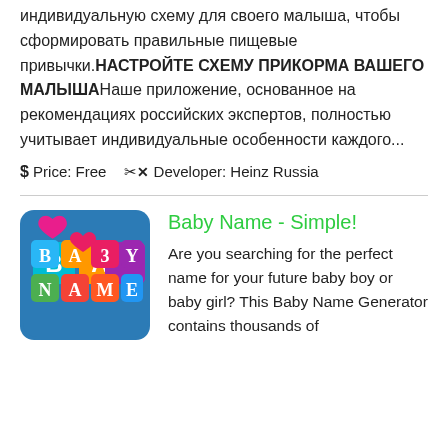индивидуальную схему для своего малыша, чтобы сформировать правильные пищевые привычки.НАСТРОЙТЕ СХЕМУ ПРИКОРМА ВАШЕГО МАЛЫШАНаше приложение, основанное на рекомендациях российских экспертов, полностью учитывает индивидуальные особенности каждого...
$ Price: Free  🔧 Developer: Heinz Russia
Baby Name - Simple!
Are you searching for the perfect name for your future baby boy or baby girl? This Baby Name Generator contains thousands of